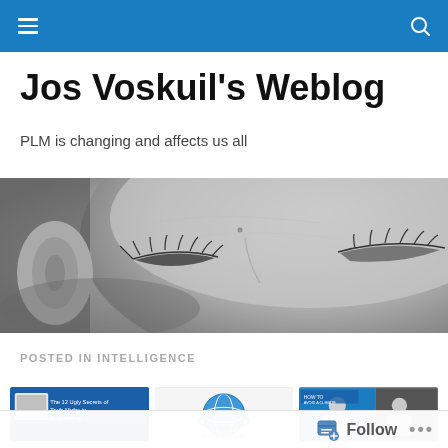Jos Voskuil's Weblog navigation bar
Jos Voskuil's Weblog
PLM is changing and affects us all
[Figure (photo): Black and white close-up photo of a person's face showing eyes, nose and ear]
POSTED IN INTELLIGENCE
[Figure (screenshot): Three thumbnail images: a video screenshot with text about Truth Myths in Engineering, a PLM Green Alliance globe logo, and a video screenshot with two people]
Follow